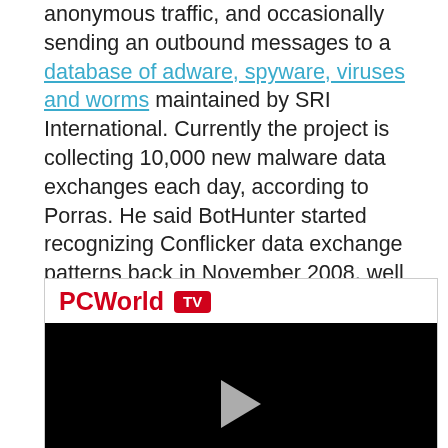anonymous traffic, and occasionally sending an outbound messages to a database of adware, spyware, viruses and worms maintained by SRI International. Currently the project is collecting 10,000 new malware data exchanges each day, according to Porras. He said BotHunter started recognizing Conflicker data exchange patterns back in November 2008, well before that threat was popularized by other security vendors.
[Figure (screenshot): PCWorld TV video player with black video area and a play button triangle in the center]